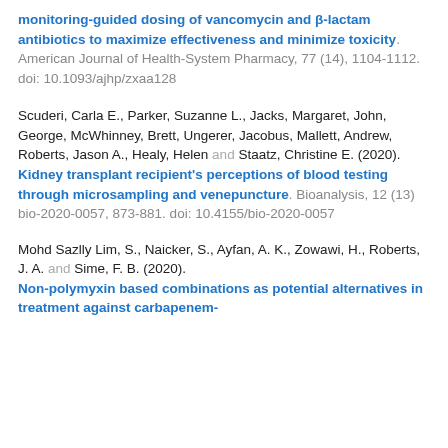monitoring-guided dosing of vancomycin and β-lactam antibiotics to maximize effectiveness and minimize toxicity. American Journal of Health-System Pharmacy, 77 (14), 1104-1112. doi: 10.1093/ajhp/zxaa128
Scuderi, Carla E., Parker, Suzanne L., Jacks, Margaret, John, George, McWhinney, Brett, Ungerer, Jacobus, Mallett, Andrew, Roberts, Jason A., Healy, Helen and Staatz, Christine E. (2020). Kidney transplant recipient's perceptions of blood testing through microsampling and venepuncture. Bioanalysis, 12 (13) bio-2020-0057, 873-881. doi: 10.4155/bio-2020-0057
Mohd Sazlly Lim, S., Naicker, S., Ayfan, A. K., Zowawi, H., Roberts, J. A. and Sime, F. B. (2020). Non-polymyxin based combinations as potential alternatives in treatment against carbapenem-